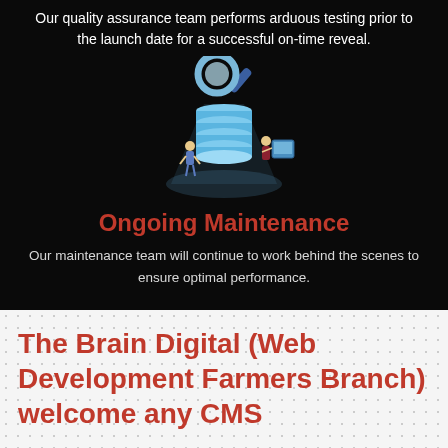Our quality assurance team performs arduous testing prior to the launch date for a successful on-time reveal.
[Figure (illustration): Isometric illustration of a database server stack with a magnifying glass on top and two people examining it, with a light beam effect on a dark background.]
Ongoing Maintenance
Our maintenance team will continue to work behind the scenes to ensure optimal performance.
The Brain Digital (Web Development Farmers Branch) welcome any CMS